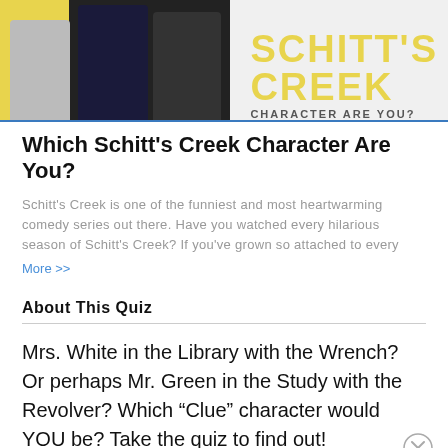[Figure (screenshot): Banner image showing three people standing in front of a yellow background with the text SCHITT'S CREEK CHARACTER ARE YOU? in large yellow letters]
Which Schitt’s Creek Character Are You?
Schitt’s Creek is one of the funniest and most heartwarming comedy series out there. Have you watched every hilarious season of Schitt’s Creek? If you’ve grown so attached to every
More >>
About This Quiz
Mrs. White in the Library with the Wrench? Or perhaps Mr. Green in the Study with the Revolver? Which “Clue” character would YOU be? Take the quiz to find out!